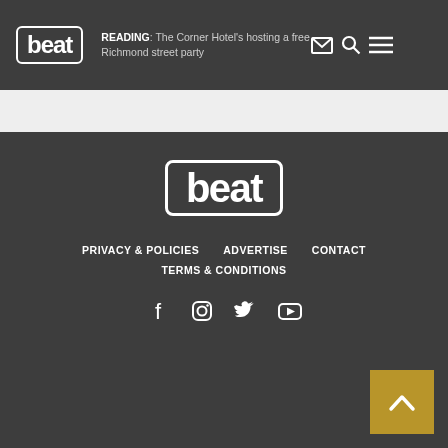beat | READING: The Corner Hotel's hosting a free Richmond street party
[Figure (logo): Beat logo in footer - white outlined rounded rectangle with 'beat' text]
PRIVACY & POLICIES   ADVERTISE   CONTACT   TERMS & CONDITIONS
[Figure (illustration): Social media icons: Facebook, Instagram, Twitter, YouTube]
[Figure (other): Gold back-to-top button with upward chevron arrow]